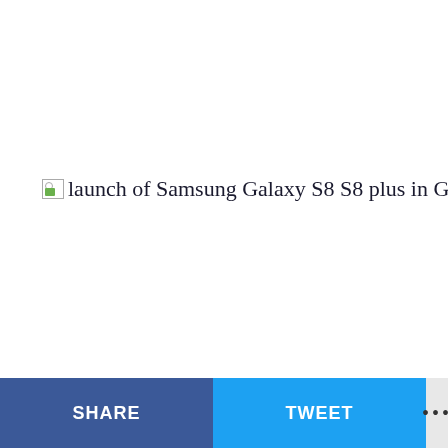[Figure (photo): Broken image placeholder with alt text: launch of Samsung Galaxy S8 S8 plus in Ghana20]
SHARE  TWEET  ...